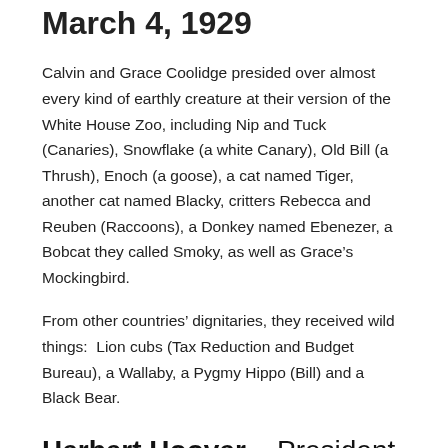March 4, 1929
Calvin and Grace Coolidge presided over almost every kind of earthly creature at their version of the White House Zoo, including Nip and Tuck (Canaries), Snowflake (a white Canary), Old Bill (a Thrush), Enoch (a goose), a cat named Tiger, another cat named Blacky, critters Rebecca and Reuben (Raccoons), a Donkey named Ebenezer, a Bobcat they called Smoky, as well as Grace’s Mockingbird.
From other countries’ dignitaries, they received wild things: Lion cubs (Tax Reduction and Budget Bureau), a Wallaby, a Pygmy Hippo (Bill) and a Black Bear.
Herbert Hoover – President from March 4, 1929 to March 4, 1933
One hundred years after John Quincy and Louisa Adams “regaled”